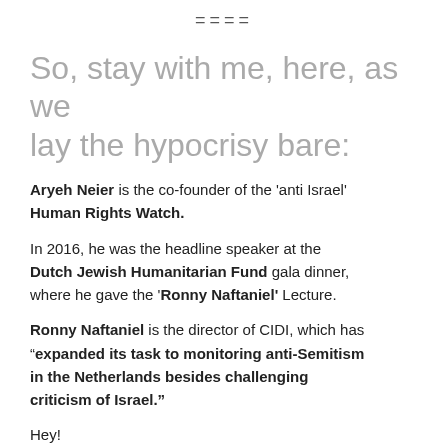====
So, stay with me, here, as we lay the hypocrisy bare:
Aryeh Neier is the co-founder of the 'anti Israel' Human Rights Watch.
In 2016, he was the headline speaker at the Dutch Jewish Humanitarian Fund gala dinner, where he gave the 'Ronny Naftaniel' Lecture.
Ronny Naftaniel is the director of CIDI, which has "expanded its task to monitoring anti-Semitism in the Netherlands besides challenging criticism of Israel."
Hey!